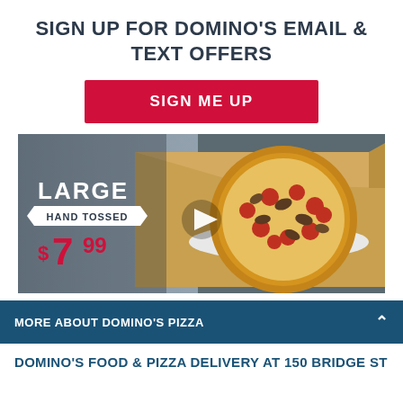SIGN UP FOR DOMINO'S EMAIL & TEXT OFFERS
SIGN ME UP
[Figure (photo): Video thumbnail showing a large hand tossed pizza in an open Domino's box with text overlay: LARGE HAND TOSSED $7.99, and a play button triangle in the center.]
MORE ABOUT DOMINO'S PIZZA
DOMINO'S FOOD & PIZZA DELIVERY AT 150 BRIDGE ST